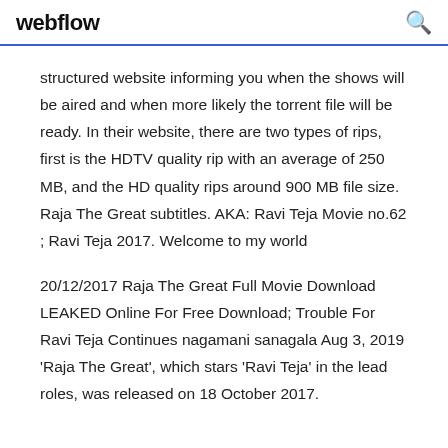webflow
structured website informing you when the shows will be aired and when more likely the torrent file will be ready. In their website, there are two types of rips, first is the HDTV quality rip with an average of 250 MB, and the HD quality rips around 900 MB file size. Raja The Great subtitles. AKA: Ravi Teja Movie no.62 ; Ravi Teja 2017. Welcome to my world
20/12/2017 Raja The Great Full Movie Download LEAKED Online For Free Download; Trouble For Ravi Teja Continues nagamani sanagala Aug 3, 2019 'Raja The Great', which stars 'Ravi Teja' in the lead roles, was released on 18 October 2017.